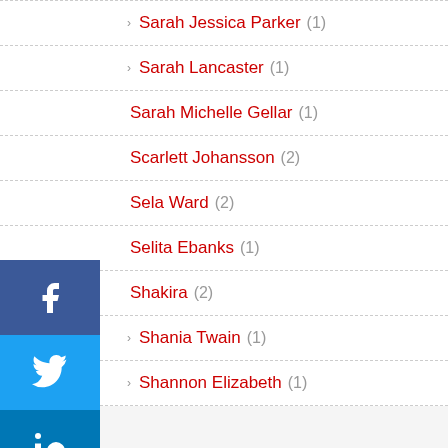Sarah Jessica Parker (1)
Sarah Lancaster (1)
Sarah Michelle Gellar (1)
Scarlett Johansson (2)
Sela Ward (2)
Selita Ebanks (1)
Shakira (2)
Shania Twain (1)
Shannon Elizabeth (1)